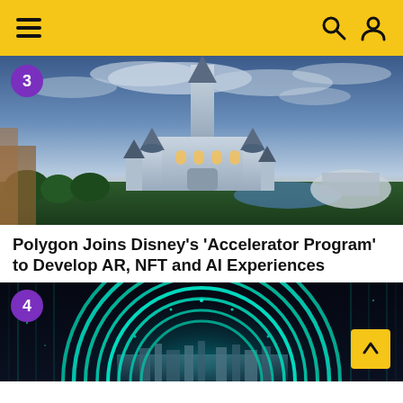Navigation header with hamburger menu, search icon, and user icon
[Figure (photo): Aerial view of Disney's Cinderella Castle at Magic Kingdom, Walt Disney World, at dusk with dramatic cloudy sky. Badge with number 3 in purple circle top-left.]
Polygon Joins Disney's 'Accelerator Program' to Develop AR, NFT and AI Experiences
[Figure (photo): Futuristic digital arch made of glowing teal/cyan light rings with sparkles against dark background and city skyline. Badge with number 4 in purple circle top-left.]